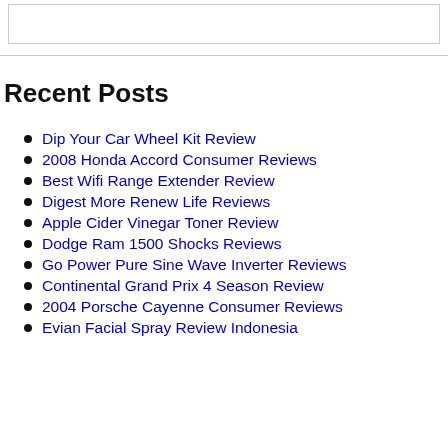Recent Posts
Dip Your Car Wheel Kit Review
2008 Honda Accord Consumer Reviews
Best Wifi Range Extender Review
Digest More Renew Life Reviews
Apple Cider Vinegar Toner Review
Dodge Ram 1500 Shocks Reviews
Go Power Pure Sine Wave Inverter Reviews
Continental Grand Prix 4 Season Review
2004 Porsche Cayenne Consumer Reviews
Evian Facial Spray Review Indonesia